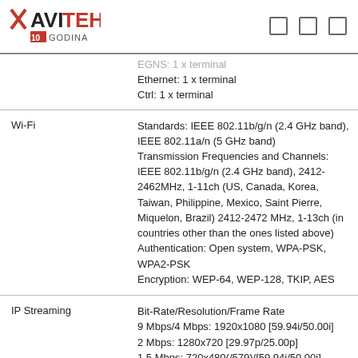AVITEH 10 GODINA
|  | EGNS: 1 x terminal
Ethernet: 1 x terminal
Ctrl: 1 x terminal |
| Wi-Fi | Standards: IEEE 802.11b/g/n (2.4 GHz band), IEEE 802.11a/n (5 GHz band)
Transmission Frequencies and Channels: IEEE 802.11b/g/n (2.4 GHz band), 2412-2462MHz, 1-11ch (US, Canada, Korea, Taiwan, Philippine, Mexico, Saint Pierre, Miquelon, Brazil) 2412-2472 MHz, 1-13ch (in countries other than the ones listed above)
Authentication: Open system, WPA-PSK, WPA2-PSK
Encryption: WEP-64, WEP-128, TKIP, AES |
| IP Streaming | Bit-Rate/Resolution/Frame Rate
9 Mbps/4 Mbps: 1920x1080 [59.94i/50.00i]
2 Mbps: 1280x720 [29.97p/25.00p]
1.5 Mbps: 720x480(/579)/[59.94i/50.00i] |